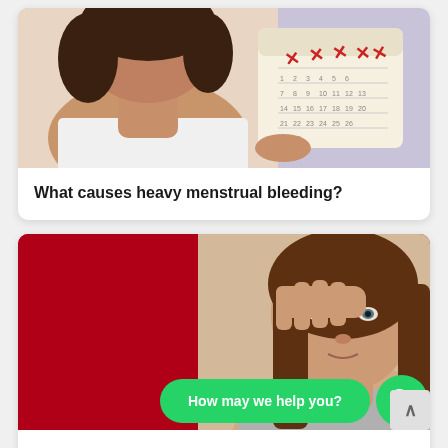[Figure (photo): Woman holding a calendar with red X marks, wearing a white shirt, against a light purple background — top card image]
What causes heavy menstrual bleeding?
[Figure (photo): Young woman with hand on forehead looking tired/unwell, against a red background — bottom card image, with WhatsApp chat overlay: 'How may we help you?' button and WhatsApp icon]
Do you feel exhausted? You could have anemia